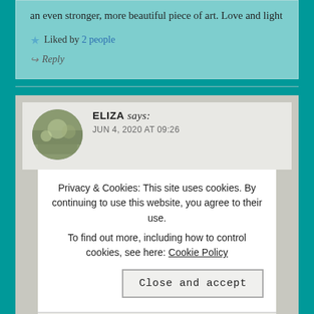an even stronger, more beautiful piece of art. Love and light
★ Liked by 2 people
↪ Reply
ELIZA says: JUN 4, 2020 AT 09:26
Privacy & Cookies: This site uses cookies. By continuing to use this website, you agree to their use.
To find out more, including how to control cookies, see here: Cookie Policy
Close and accept
↪ Reply